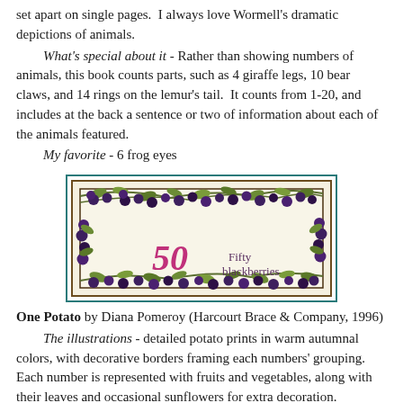set apart on single pages.  I always love Wormell's dramatic depictions of animals.
What's special about it - Rather than showing numbers of animals, this book counts parts, such as 4 giraffe legs, 10 bear claws, and 14 rings on the lemur's tail.  It counts from 1-20, and includes at the back a sentence or two of information about each of the animals featured.
My favorite - 6 frog eyes
[Figure (photo): Book illustration showing '50 Fifty blackberries' with decorative blackberry branches and leaves surrounding the text on a cream background, framed with a teal border.]
One Potato by Diana Pomeroy (Harcourt Brace & Company, 1996)
The illustrations - detailed potato prints in warm autumnal colors, with decorative borders framing each numbers' grouping. Each number is represented with fruits and vegetables, along with their leaves and occasional sunflowers for extra decoration.